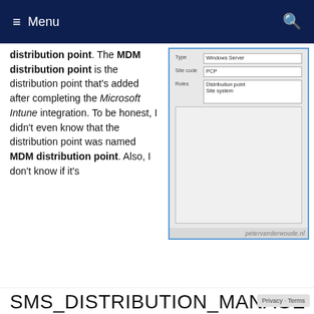Menu
distribution point. The MDM distribution point is the distribution point that's added after completing the Microsoft Intune integration. To be honest, I didn't even know that the distribution point was named MDM distribution point. Also, I don't know if it's
[Figure (screenshot): Windows dialog box showing Type: Windows Server, Site code: PCP, Roles: Distribution point, Site system]
petervanderwoude.nl uses cookies to ensure that it provides you the best experience on this blog. By continuing to use this blog, you agree to their use. To find out more, including how to control cookies, see here: Cookie policy
SMS_DISTRIBUTION_MANAGER